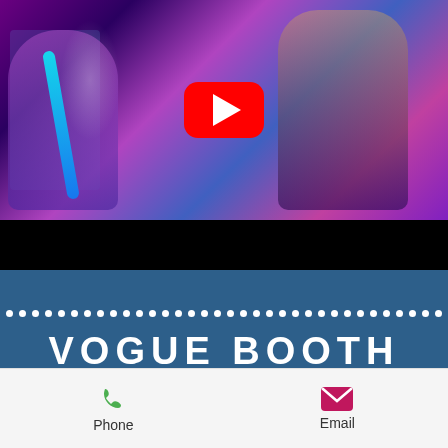[Figure (screenshot): YouTube video thumbnail showing people dancing at a party/event with colorful lights, featuring a red YouTube play button overlay]
VOGUE BOOTH
Fashion / Vogue Booth With Slow Moti
An amazing over the top activation that creates amazing videos and still shots.  We also take video of event interaction with
Phone    Email